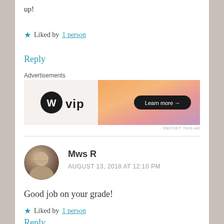up!
★ Liked by 1 person
Reply
Advertisements
[Figure (other): WordPress VIP advertisement banner with orange-pink gradient and Learn more button]
REPORT THIS AD
Mws R
AUGUST 13, 2018 AT 12:10 PM
Good job on your grade!
★ Liked by 1 person
Reply